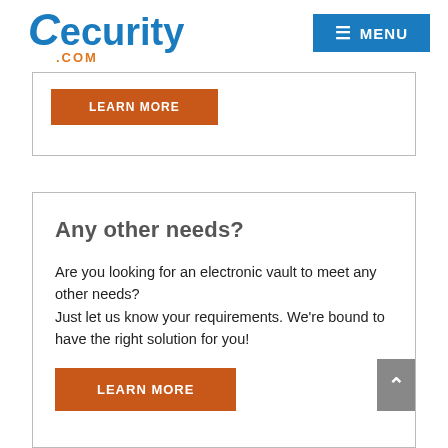Cecurity.com — MENU
LEARN MORE
Any other needs?
Are you looking for an electronic vault to meet any other needs?
Just let us know your requirements. We're bound to have the right solution for you!
LEARN MORE